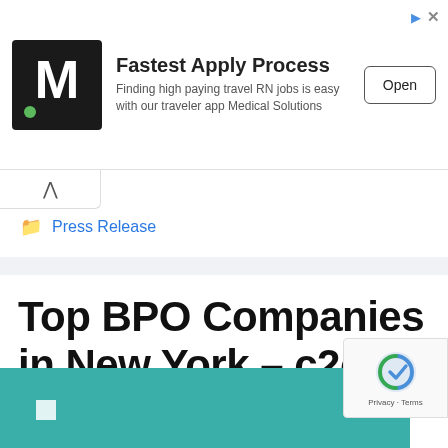[Figure (other): Advertisement banner: Medical Solutions logo (M letter), heading 'Fastest Apply Process', subtitle text, and Open button]
Press Release
Top BPO Companies in New York – c2o
July 23, 2022 by ploluadmin
[Figure (other): Teal/green colored image strip at the bottom of the page with a white square element]